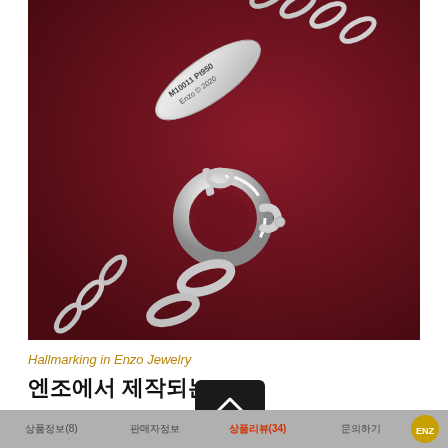[Figure (photo): Close-up photograph of a platinum jewelry chain clasp with an engraved tag reading 'M10011 Pt950 Enzo © 2020', showing a spring ring clasp and chain links on a dark red background.]
Hallmarking in Enzo Jewelry
엔조에서 제작되는 주얼리
상품정보(8)   판매자정보   상품리뷰(34)   문의하기